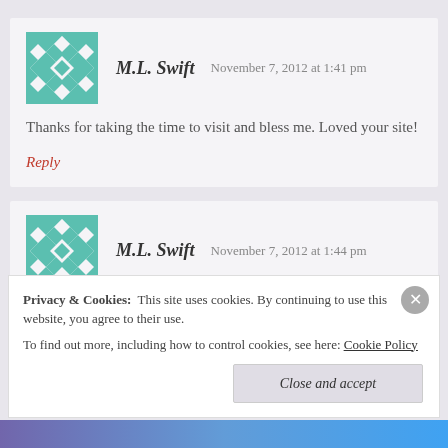M.L. Swift   November 7, 2012 at 1:41 pm
Thanks for taking the time to visit and bless me. Loved your site!
Reply
M.L. Swift   November 7, 2012 at 1:44 pm
Privacy & Cookies:  This site uses cookies. By continuing to use this website, you agree to their use. To find out more, including how to control cookies, see here: Cookie Policy
Close and accept